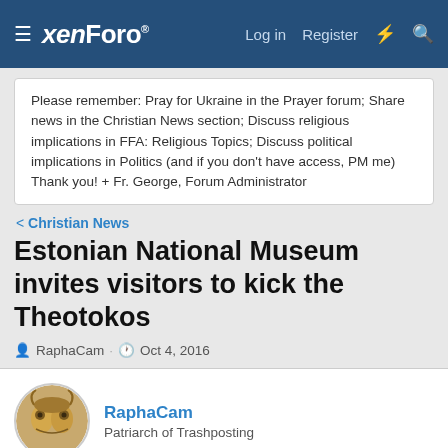xenForo — Log in  Register
Please remember: Pray for Ukraine in the Prayer forum; Share news in the Christian News section; Discuss religious implications in FFA: Religious Topics; Discuss political implications in Politics (and if you don't have access, PM me) Thank you! + Fr. George, Forum Administrator
< Christian News
Estonian National Museum invites visitors to kick the Theotokos
RaphaCam · Oct 4, 2016
RaphaCam
Patriarch of Trashposting
Oct 4, 2016   #1